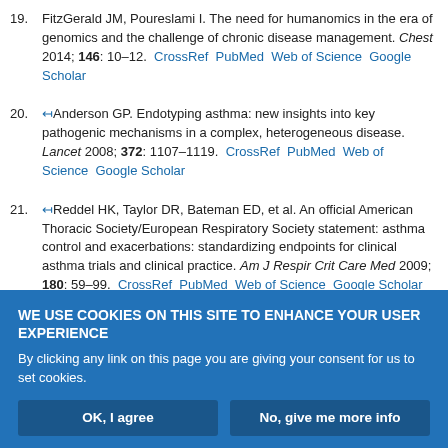19. FitzGerald JM, Poureslami I. The need for humanomics in the era of genomics and the challenge of chronic disease management. Chest 2014; 146: 10–12. CrossRef PubMed Web of Science Google Scholar
20. ↤Anderson GP. Endotyping asthma: new insights into key pathogenic mechanisms in a complex, heterogeneous disease. Lancet 2008; 372: 1107–1119. CrossRef PubMed Web of Science Google Scholar
21. ↤Reddel HK, Taylor DR, Bateman ED, et al. An official American Thoracic Society/European Respiratory Society statement: asthma control and exacerbations: standardizing endpoints for clinical asthma trials and clinical practice. Am J Respir Crit Care Med 2009; 180: 59–99. CrossRef PubMed Web of Science Google Scholar
WE USE COOKIES ON THIS SITE TO ENHANCE YOUR USER EXPERIENCE
By clicking any link on this page you are giving your consent for us to set cookies.